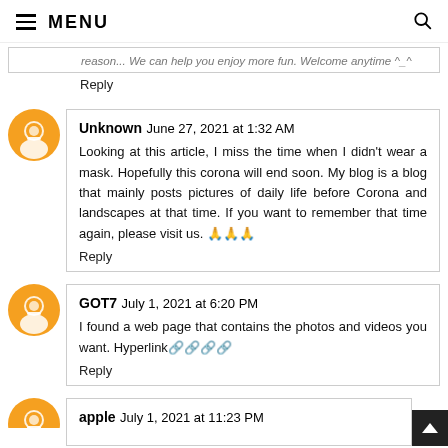≡ MENU
reason... We can help you enjoy more fun. Welcome anytime ^_^
Reply
Unknown June 27, 2021 at 1:32 AM
Looking at this article, I miss the time when I didn't wear a mask. Hopefully this corona will end soon. My blog is a blog that mainly posts pictures of daily life before Corona and landscapes at that time. If you want to remember that time again, please visit us. 🙏🙏🙏
Reply
GOT7 July 1, 2021 at 6:20 PM
I found a web page that contains the photos and videos you want. Hyperlink🔗🔗🔗🔗
Reply
apple July 1, 2021 at 11:23 PM